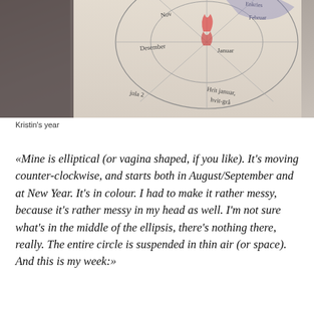[Figure (photo): A hand-drawn elliptical/year calendar on paper, showing months including Desember, Januar, Februar, and jula, with colored markings in red and blue. The drawing is photographed on a table with a warm-toned background.]
Kristin's year
«Mine is elliptical (or vagina shaped, if you like). It's moving counter-clockwise, and starts both in August/September and at New Year. It's in colour. I had to make it rather messy, because it's rather messy in my head as well. I'm not sure what's in the middle of the ellipsis, there's nothing there, really. The entire circle is suspended in thin air (or space). And this is my week:»